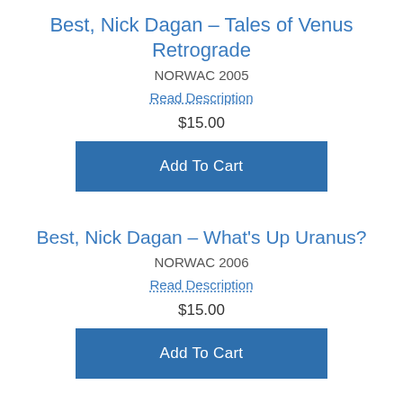Best, Nick Dagan – Tales of Venus Retrograde
NORWAC 2005
Read Description
$15.00
Add To Cart
Best, Nick Dagan – What's Up Uranus?
NORWAC 2006
Read Description
$15.00
Add To Cart